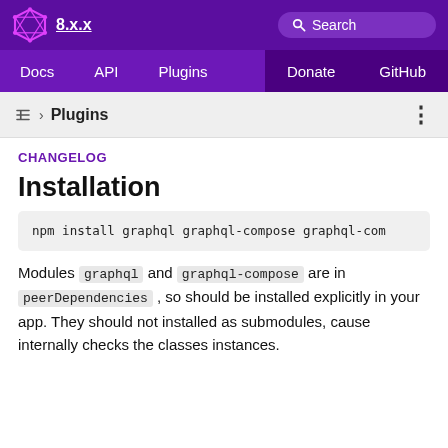8.x.x — Search — Docs — API — Plugins — Donate — GitHub
› Plugins
CHANGELOG
Installation
npm install graphql graphql-compose graphql-com
Modules graphql and graphql-compose are in peerDependencies , so should be installed explicitly in your app. They should not installed as submodules, cause internally checks the classes instances.